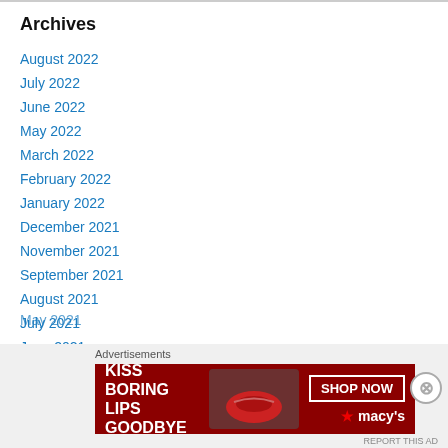Archives
August 2022
July 2022
June 2022
May 2022
March 2022
February 2022
January 2022
December 2021
November 2021
September 2021
August 2021
July 2021
June 2021
May 2021
[Figure (other): Macy's advertisement banner: KISS BORING LIPS GOODBYE with SHOP NOW button and Macy's star logo]